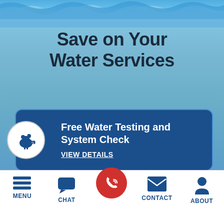[Figure (illustration): Water splash background image at the top of the page]
Save on Your Water Services
Free Water Testing and System Check
VIEW DETAILS
VIEW ALL PROMOTIONS
MENU  CHAT  CONTACT  ABOUT